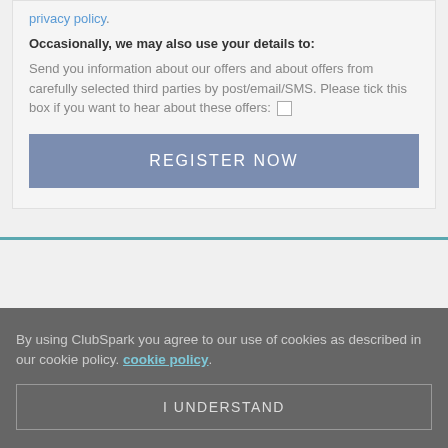privacy policy.
Occasionally, we may also use your details to:
Send you information about our offers and about offers from carefully selected third parties by post/email/SMS. Please tick this box if you want to hear about these offers: ☐
REGISTER NOW
By using ClubSpark you agree to our use of cookies as described in our cookie policy. cookie policy.
I UNDERSTAND